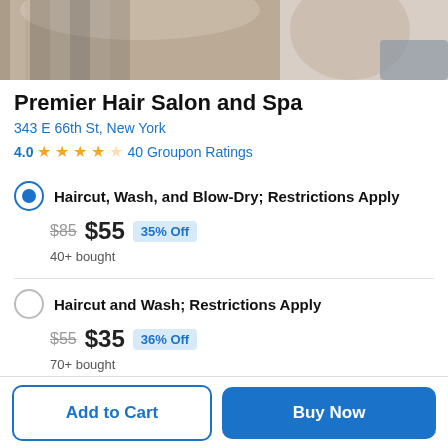[Figure (photo): Photo strip showing salon/spa scene with people]
Premier Hair Salon and Spa
343 E 66th St, New York
4.0 ★★★★☆ 40 Groupon Ratings
Haircut, Wash, and Blow-Dry; Restrictions Apply — $85 $55 35% Off — 40+ bought
Haircut and Wash; Restrictions Apply — $55 $35 36% Off — 70+ bought